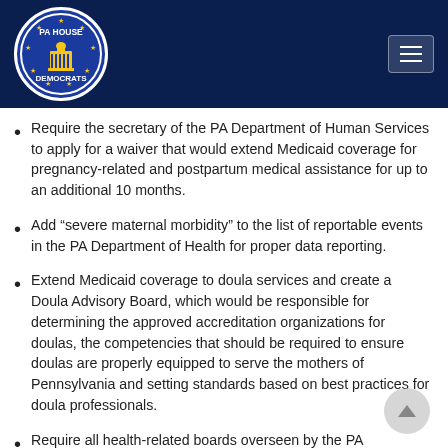[Figure (logo): PA House Democrats circular logo with blue background, gold stars, and capitol building illustration]
Require the secretary of the PA Department of Human Services to apply for a waiver that would extend Medicaid coverage for pregnancy-related and postpartum medical assistance for up to an additional 10 months.
Add “severe maternal morbidity” to the list of reportable events in the PA Department of Health for proper data reporting.
Extend Medicaid coverage to doula services and create a Doula Advisory Board, which would be responsible for determining the approved accreditation organizations for doulas, the competencies that should be required to ensure doulas are properly equipped to serve the mothers of Pennsylvania and setting standards based on best practices for doula professionals.
Require all health-related boards overseen by the PA Department of State to institute implicit bias training as